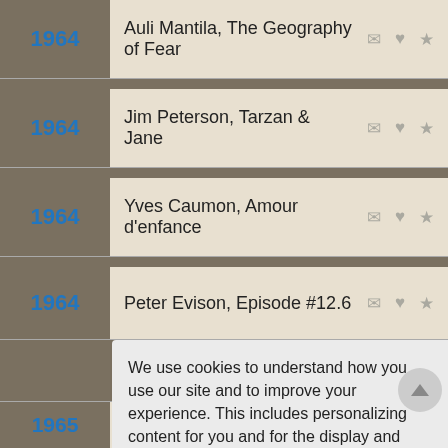1964 — Auli Mantila, The Geography of Fear
1964 — Jim Peterson, Tarzan & Jane
1964 — Yves Caumon, Amour d'enfance
1964 — Peter Evison, Episode #12.6
We use cookies to understand how you use our site and to improve your experience. This includes personalizing content for you and for the display and tracking of advertising. By continuing to use our site, you accept and agree to our use of cookies. Privacy Policy
Got it!
1965 — Jacob Brumfield, Bogalusa LA, outfielder (Toronto Blue